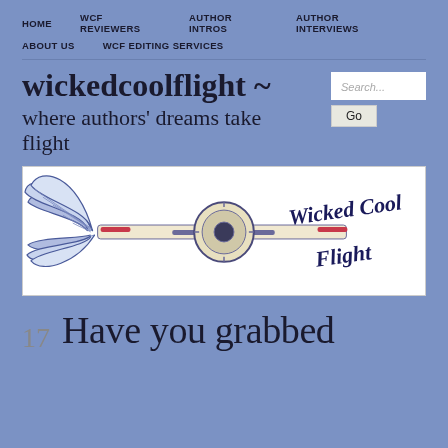HOME   WCF REVIEWERS   AUTHOR INTROS   AUTHOR INTERVIEWS   ABOUT US   WCF EDITING SERVICES
wickedcoolflight ~ where authors' dreams take flight
[Figure (logo): Wicked Cool Flight logo: a propeller airplane with large feathered wings spread, with script text 'Wicked Cool Flight' to the right]
17   Have you grabbed